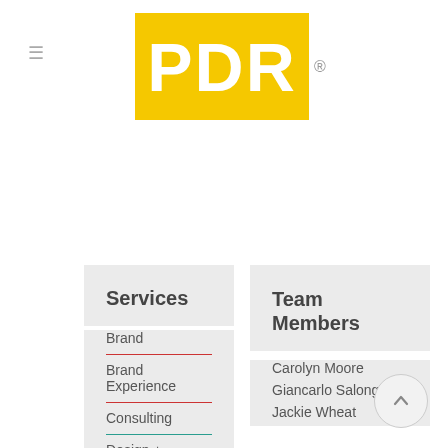[Figure (logo): PDR logo — white bold text 'PDR' on yellow square background with registered trademark symbol]
Services
Brand
Brand Experience
Consulting
Design + Architecture
Team Members
Carolyn Moore
Giancarlo Salonga
Jackie Wheat